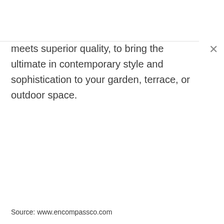meets superior quality, to bring the ultimate in contemporary style and sophistication to your garden, terrace, or outdoor space.
Source: www.encompassco.com